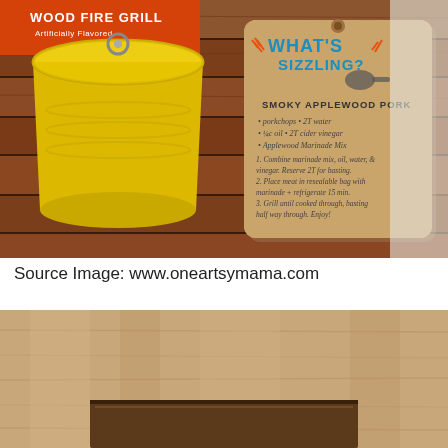[Figure (photo): Photo of a yellow tin bucket on a wooden slatted table/bench with a kraft paper recipe card tag showing 'What's Sizzling? Smoky Applewood Pork' recipe with handwritten ingredients and instructions]
Source Image: www.oneartsymama.com
[Figure (photo): Partial photo of a light wood surface (cutting board or table top) with a darker wooden element partially visible at the bottom]